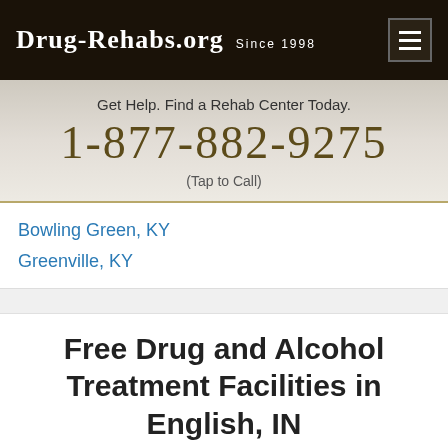DRUG-REHABS.ORG SINCE 1998
Get Help. Find a Rehab Center Today.
1-877-882-9275
(Tap to Call)
Bowling Green, KY
Greenville, KY
Free Drug and Alcohol Treatment Facilities in English, IN
In many cases, free drug and alcohol rehabilitation centers are the only choice available for people who might otherwise not have been able to afford to check into a treatment center. These centers offer free meetings and treatment services while offering their clients a safe haven in which to end their